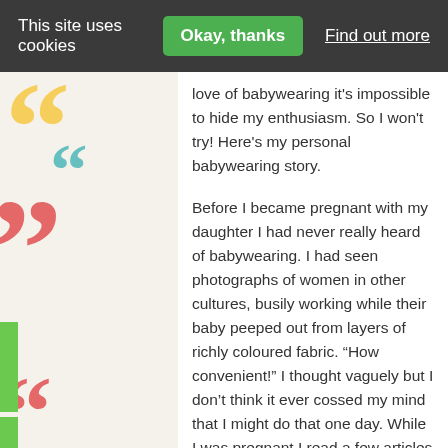This site uses cookies   Okay, thanks   Find out more
love of babywearing it's impossible to hide my enthusiasm. So I won't try! Here's my personal babywearing story.
Before I became pregnant with my daughter I had never really heard of babywearing. I had seen photographs of women in other cultures, busily working while their baby peeped out from layers of richly coloured fabric. “How convenient!” I thought vaguely but I don’t think it ever cossed my mind that I might do that one day. While I was pregnant I read a few articles about wearing your baby and discovered it wasn’t just for mothers from other